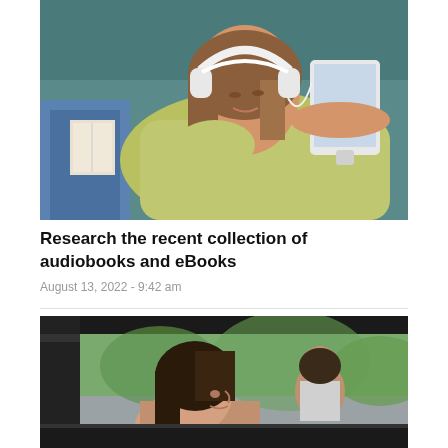[Figure (photo): Young girl with white headphones lying on a couch holding a tablet device, listening to audiobooks or reading eBooks. An adult with a book is visible in the background.]
Research the recent collection of audiobooks and eBooks
August 13, 2022 - 9:42 am
[Figure (photo): Woman sitting in a car looking out the window, with another person visible in the background outside.]